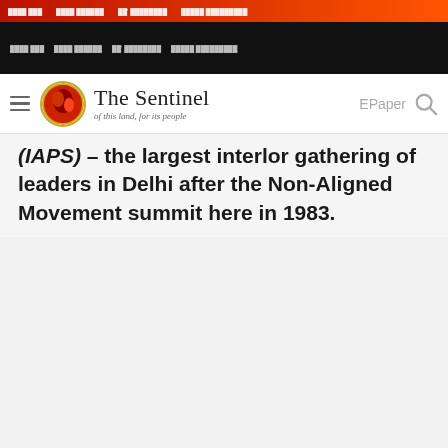The Sentinel - of this land, for its people
(IAPS) – the largest interlor gathering of leaders in Delhi after the Non-Aligned Movement summit here in 1983.